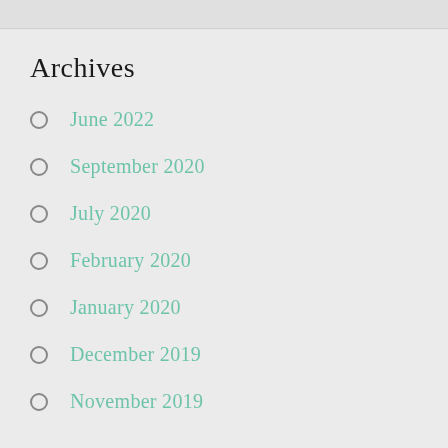Archives
June 2022
September 2020
July 2020
February 2020
January 2020
December 2019
November 2019